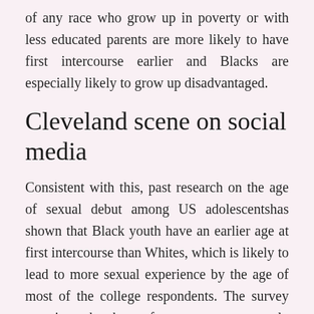of any race who grow up in poverty or with less educated parents are more likely to have first intercourse earlier and Blacks are especially likely to grow up disadvantaged.
Cleveland scene on social media
Consistent with this, past research on the age of sexual debut among US adolescentshas shown that Black youth have an earlier age at first intercourse than Whites, which is likely to lead to more sexual experience by the age of most of the college respondents. The survey question asks about of partners ever, not only during college, so having started during or before high school could lead to a higher lifetime. To test how much of this is explained by Black men having had an earlier